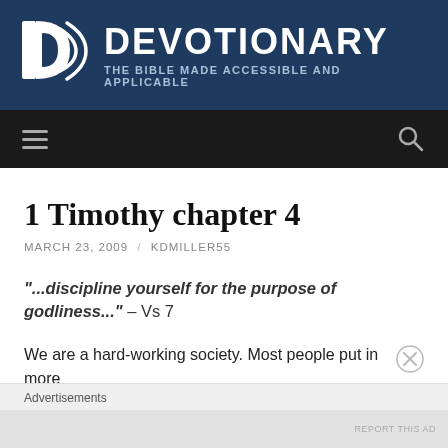DEVOTIONARY – THE BIBLE MADE ACCESSIBLE AND APPLICABLE
1 Timothy chapter 4
MARCH 23, 2009 / KDMILLER55
"...discipline yourself for the purpose of godliness..." – Vs 7
We are a hard-working society. Most people put in more
Advertisements